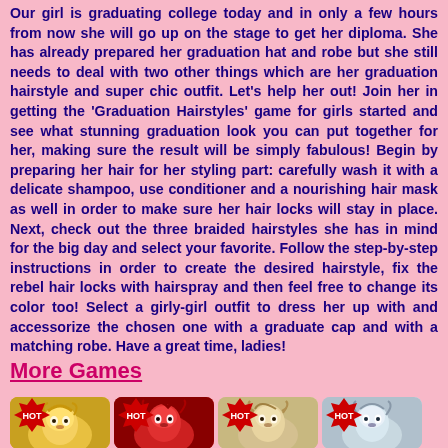Our girl is graduating college today and in only a few hours from now she will go up on the stage to get her diploma. She has already prepared her graduation hat and robe but she still needs to deal with two other things which are her graduation hairstyle and super chic outfit. Let's help her out! Join her in getting the 'Graduation Hairstyles' game for girls started and see what stunning graduation look you can put together for her, making sure the result will be simply fabulous! Begin by preparing her hair for her styling part: carefully wash it with a delicate shampoo, use conditioner and a nourishing hair mask as well in order to make sure her hair locks will stay in place. Next, check out the three braided hairstyles she has in mind for the big day and select your favorite. Follow the step-by-step instructions in order to create the desired hairstyle, fix the rebel hair locks with hairspray and then feel free to change its color too! Select a girly-girl outfit to dress her up with and accessorize the chosen one with a graduate cap and with a matching robe. Have a great time, ladies!
More Games
[Figure (illustration): Four thumbnail images of games with HOT badges, showing animated girl characters with various hairstyles]